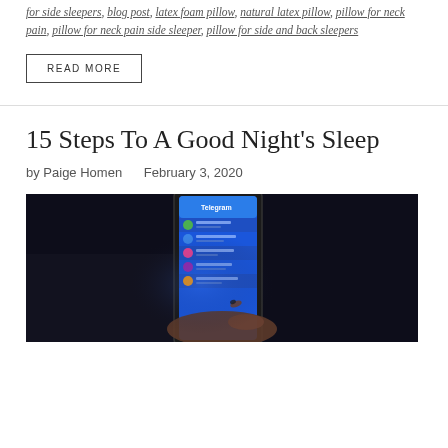for side sleepers, blog post, latex foam pillow, natural latex pillow, pillow for neck pain, pillow for neck pain side sleeper, pillow for side and back sleepers
READ MORE
15 Steps To A Good Night's Sleep
by Paige Homen   February 3, 2020
[Figure (photo): A hand holding a smartphone displaying the Telegram messaging app, photographed against a dark background.]